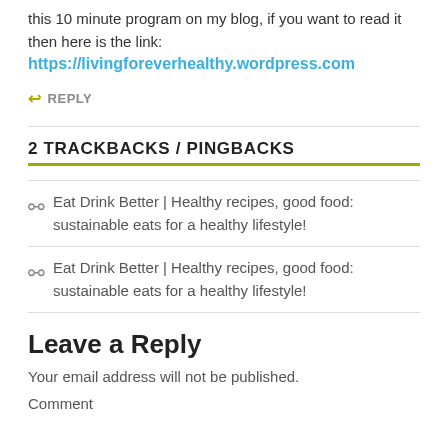this 10 minute program on my blog, if you want to read it then here is the link:
https://livingforeverhealthy.wordpress.com
↩ REPLY
2 TRACKBACKS / PINGBACKS
Eat Drink Better | Healthy recipes, good food: sustainable eats for a healthy lifestyle!
Eat Drink Better | Healthy recipes, good food: sustainable eats for a healthy lifestyle!
Leave a Reply
Your email address will not be published.
Comment